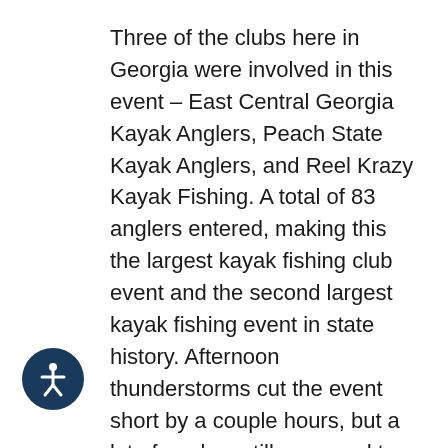Three of the clubs here in Georgia were involved in this event – East Central Georgia Kayak Anglers, Peach State Kayak Anglers, and Reel Krazy Kayak Fishing. A total of 83 anglers entered, making this the largest kayak fishing club event and the second largest kayak fishing event in state history. Afternoon thunderstorms cut the event short by a couple hours, but a lot of anglers still managed to score some solid fish at the measure-in. When the stringers were all tallied up, it was David Hampton notching the win with a 91.75" stringer. For the win, David took home over $1200 plus a brand-new Bite Kayak from sponsor Jackson Kayaks. Second place went to Mike Manivanh of Tucker with a 90.75" stringer